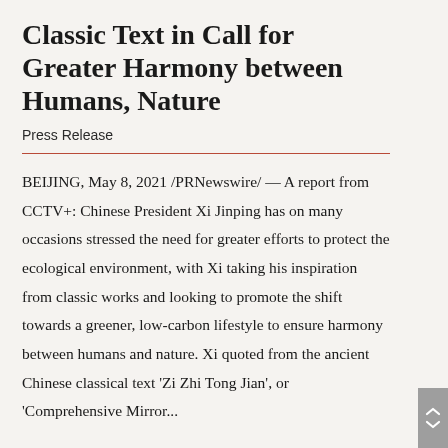Classic Text in Call for Greater Harmony between Humans, Nature
Press Release
BEIJING, May 8, 2021 /PRNewswire/ — A report from CCTV+: Chinese President Xi Jinping has on many occasions stressed the need for greater efforts to protect the ecological environment, with Xi taking his inspiration from classic works and looking to promote the shift towards a greener, low-carbon lifestyle to ensure harmony between humans and nature. Xi quoted from the ancient Chinese classical text 'Zi Zhi Tong Jian', or 'Comprehensive Mirror...